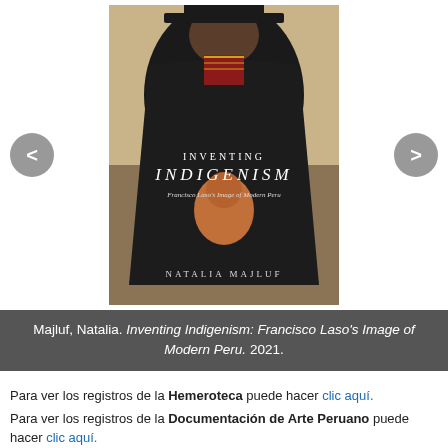[Figure (photo): Book cover of 'Inventing Indigenism: Francisco Laso's Image of Modern Peru' by Natalia Majluf, showing a painting of a figure in dark robes holding a ceramic vessel. Navigation arrows on left and right side of the image carousel.]
Majluf, Natalia. Inventing Indigenism: Francisco Laso's Image of Modern Peru. 2021.
Para ver los registros de la Hemeroteca puede hacer clic aquí.
Para ver los registros de la Documentación de Arte Peruano puede hacer clic aquí.